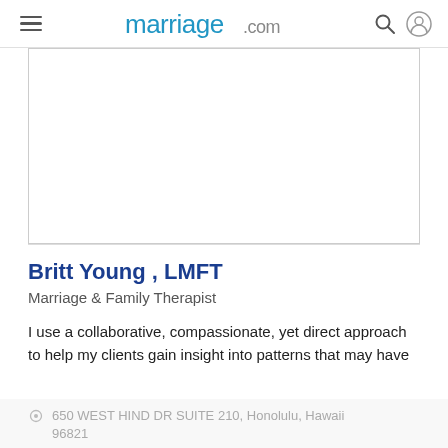marriage.com
[Figure (photo): Profile photo placeholder area — large white/light gray bordered rectangle]
Britt Young , LMFT
Marriage & Family Therapist
I use a collaborative, compassionate, yet direct approach to help my clients gain insight into patterns that may have
650 WEST HIND DR SUITE 210, Honolulu, Hawaii 96821